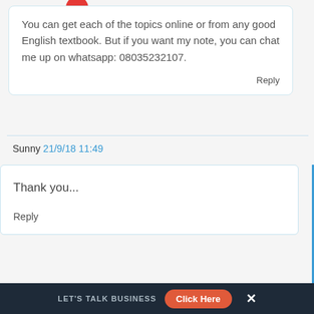You can get each of the topics online or from any good English textbook. But if you want my note, you can chat me up on whatsapp: 08035232107.
Reply
Sunny  21/9/18 11:49
Thank you...
Reply
LET'S TALK BUSINESS  Click Here  X